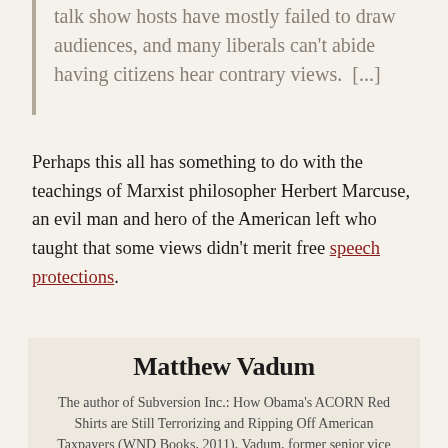talk show hosts have mostly failed to draw audiences, and many liberals can't abide having citizens hear contrary views.  [...]
Perhaps this all has something to do with the teachings of Marxist philosopher Herbert Marcuse, an evil man and hero of the American left who taught that some views didn't merit free speech protections.
Matthew Vadum
The author of Subversion Inc.: How Obama's ACORN Red Shirts are Still Terrorizing and Ripping Off American Taxpayers (WND Books, 2011), Vadum, former senior vice president at CRC, writes and speaks widely...